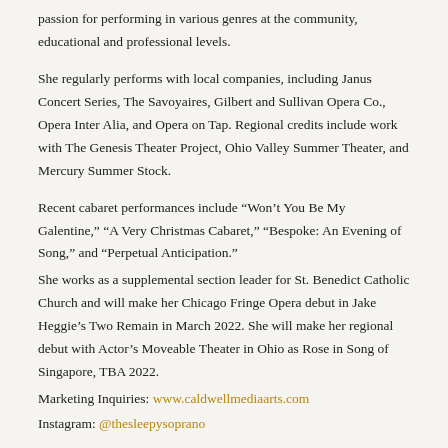passion for performing in various genres at the community, educational and professional levels.
She regularly performs with local companies, including Janus Concert Series, The Savoyaires, Gilbert and Sullivan Opera Co., Opera Inter Alia, and Opera on Tap. Regional credits include work with The Genesis Theater Project, Ohio Valley Summer Theater, and Mercury Summer Stock.
Recent cabaret performances include “Won’t You Be My Galentine,” “A Very Christmas Cabaret,” “Bespoke: An Evening of Song,” and “Perpetual Anticipation.”
She works as a supplemental section leader for St. Benedict Catholic Church and will make her Chicago Fringe Opera debut in Jake Heggie’s Two Remain in March 2022. She will make her regional debut with Actor’s Moveable Theater in Ohio as Rose in Song of Singapore, TBA 2022.
Marketing Inquiries: www.caldwellmediaarts.com
Instagram: @thesleepysoprano